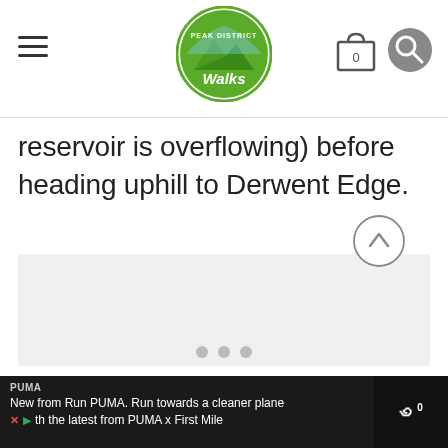[Figure (logo): Peak District Walks logo — circular green logo with mountain silhouette and 'Walks' text in white script, with hamburger menu icon on the left, cart (showing 0) and search icons on the right]
reservoir is overflowing) before heading uphill to Derwent Edge.
[Figure (photo): Image carousel placeholder — light grey rectangle with three navigation dots at the bottom and a scroll-to-top arrow button at the bottom right]
PUMA
New from Run PUMA. Run towards a cleaner plane th the latest from PUMA x First Mile